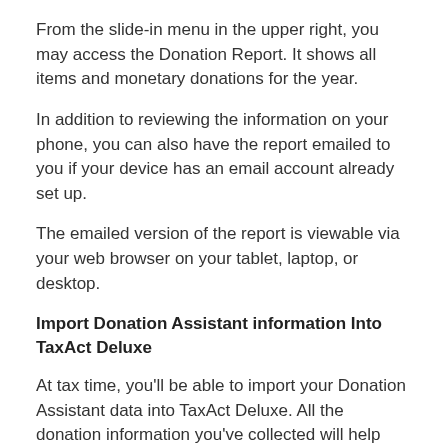From the slide-in menu in the upper right, you may access the Donation Report. It shows all items and monetary donations for the year.
In addition to reviewing the information on your phone, you can also have the report emailed to you if your device has an email account already set up.
The emailed version of the report is viewable via your web browser on your tablet, laptop, or desktop.
Import Donation Assistant information Into TaxAct Deluxe
At tax time, you’ll be able to import your Donation Assistant data into TaxAct Deluxe. All the donation information you’ve collected will help save you valuable time and money on your taxes.
Clean out your closet and help those in need.